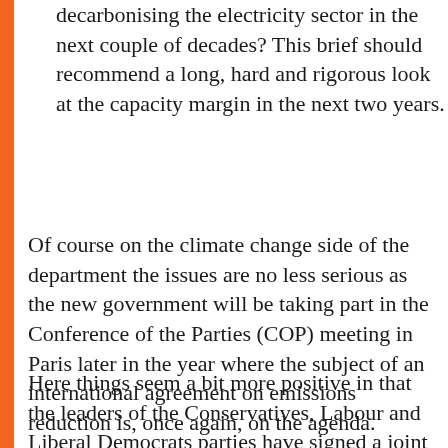decarbonising the electricity sector in the next couple of decades? This brief should recommend a long, hard and rigorous look at the capacity margin in the next two years.
Of course on the climate change side of the department the issues are no less serious as the new government will be taking part in the Conference of the Parties (COP) meeting in Paris later in the year where the subject of an international agreement on emissions reduction is, once again, on the agenda.
Here things seem a bit more positive in that the leaders of the Conservatives, Labour and Liberal Democrats parties have signed a joint pledge. This did it...